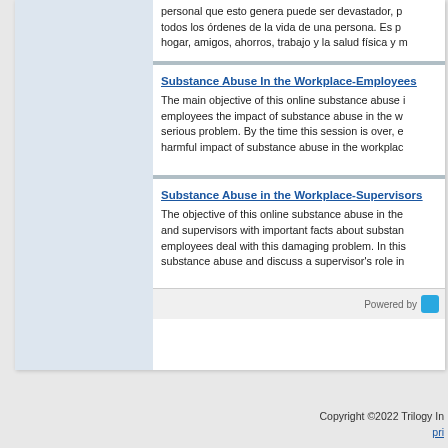personal que esto genera puede ser devastador, p... todos los órdenes de la vida de una persona. Es p... hogar, amigos, ahorros, trabajo y la salud física y m...
Substance Abuse In the Workplace-Employees
The main objective of this online substance abuse i... employees the impact of substance abuse in the w... serious problem. By the time this session is over, e... harmful impact of substance abuse in the workpla...
Substance Abuse in the Workplace-Supervisors
The objective of this online substance abuse in the... and supervisors with important facts about substan... employees deal with this damaging problem. In this... substance abuse and discuss a supervisor's role in...
Powered by
Copyright ©2022 Trilogy In... pri...